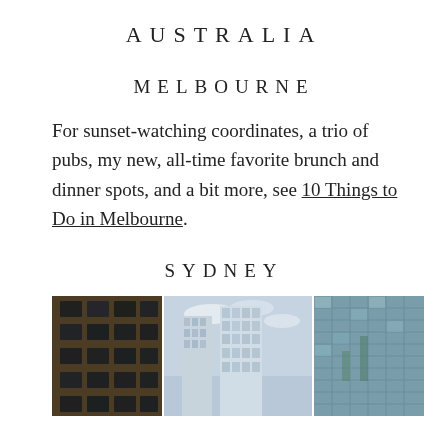AUSTRALIA
MELBOURNE
For sunset-watching coordinates, a trio of pubs, my new, all-time favorite brunch and dinner spots, and a bit more, see 10 Things to Do in Melbourne.
SYDNEY
[Figure (photo): Upward-looking view of tall city buildings and skyscrapers against a partly cloudy sky, showing three panels: left panel with dark brick building, center panel with glass skyscrapers, right panel with glass skyscraper facade.]